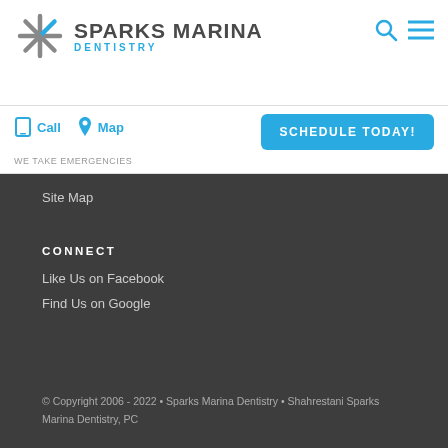[Figure (logo): Sparks Marina Dentistry starburst logo with company name and tagline]
Call
Map
WE TAKE EMERGENCIES
SCHEDULE TODAY!
Site Map
CONNECT
Like Us on Facebook
Find Us on Google
© Copyright 2006 - 2022 • Sparks Marina Dentistry • Shahrestani Sparks Marina Dentistry, PC